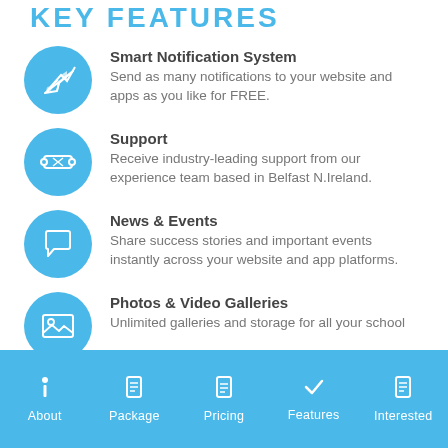KEY FEATURES
Smart Notification System
Send as many notifications to your website and apps as you like for FREE.
Support
Receive industry-leading support from our experience team based in Belfast N.Ireland.
News & Events
Share success stories and important events instantly across your website and app platforms.
Photos & Video Galleries
Unlimited galleries and storage for all your school
About | Package | Pricing | Features | Interested